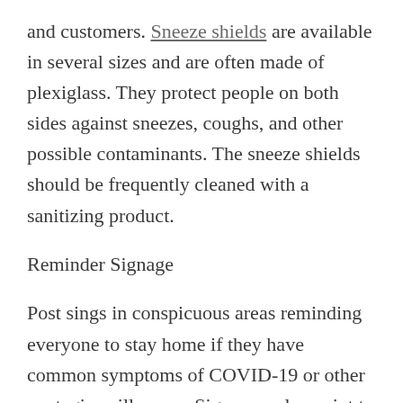and customers. Sneeze shields are available in several sizes and are often made of plexiglass. They protect people on both sides against sneezes, coughs, and other possible contaminants. The sneeze shields should be frequently cleaned with a sanitizing product.
Reminder Signage
Post sings in conspicuous areas reminding everyone to stay home if they have common symptoms of COVID-19 or other contagious illnesses. Signs can also point to the cleaning supplies and sanitizing wipes as well as indicate